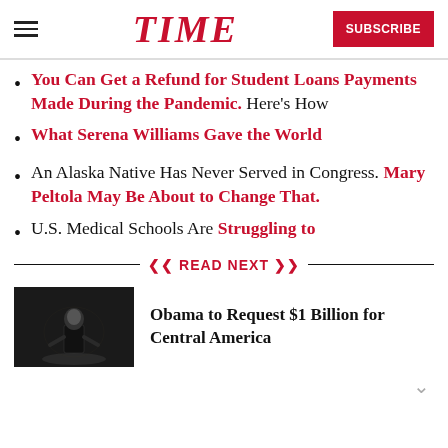TIME | SUBSCRIBE
You Can Get a Refund for Student Loans Payments Made During the Pandemic. Here's How
What Serena Williams Gave the World
An Alaska Native Has Never Served in Congress. Mary Peltola May Be About to Change That.
U.S. Medical Schools Are Struggling to
❮❮ READ NEXT ❯❯
[Figure (photo): A person speaking at a podium, dark background, black and white style]
Obama to Request $1 Billion for Central America